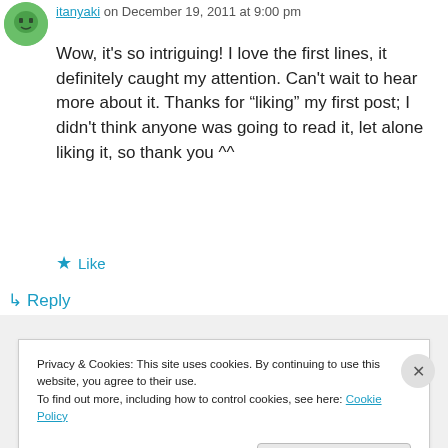itanyaki on December 19, 2011 at 9:00 pm
Wow, it's so intriguing! I love the first lines, it definitely caught my attention. Can't wait to hear more about it. Thanks for “liking” my first post; I didn't think anyone was going to read it, let alone liking it, so thank you ^^
★ Like
↳ Reply
Privacy & Cookies: This site uses cookies. By continuing to use this website, you agree to their use.
To find out more, including how to control cookies, see here: Cookie Policy
Close and accept